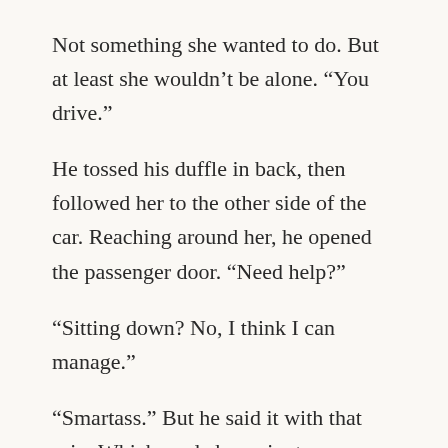Not something she wanted to do. But at least she wouldn't be alone. “You drive.”
He tossed his duffle in back, then followed her to the other side of the car. Reaching around her, he opened the passenger door. “Need help?”
“Sitting down? No, I think I can manage.”
“Smartass.” But he said it with that grin. Which made her grin, too.
As they pulled out of the parking lot, he glanced over at her with a smile tugging at one side of his mouth. “So is this like . . . a